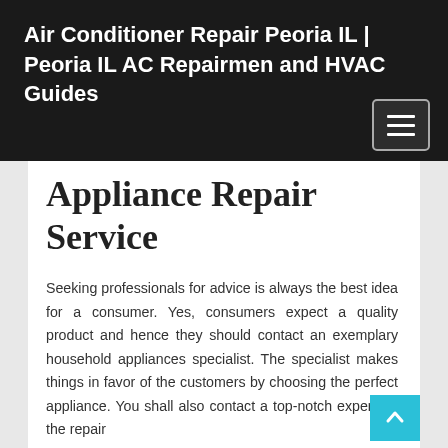Air Conditioner Repair Peoria IL | Peoria IL AC Repairmen and HVAC Guides
Appliance Repair Service
Seeking professionals for advice is always the best idea for a consumer. Yes, consumers expect a quality product and hence they should contact an exemplary household appliances specialist. The specialist makes things in favor of the customers by choosing the perfect appliance. You shall also contact a top-notch expert for the repair